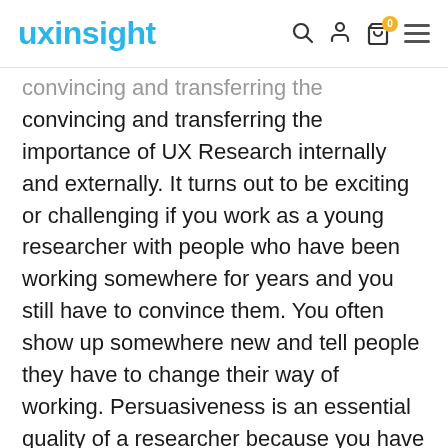uxinsight
convincing and transferring the importance of UX Research internally and externally. It turns out to be exciting or challenging if you work as a young researcher with people who have been working somewhere for years and you still have to convince them. You often show up somewhere new and tell people they have to change their way of working. Persuasiveness is an essential quality of a researcher because you have to convince others of the importance of research and your research findings. But at a young age, this can be quite difficult